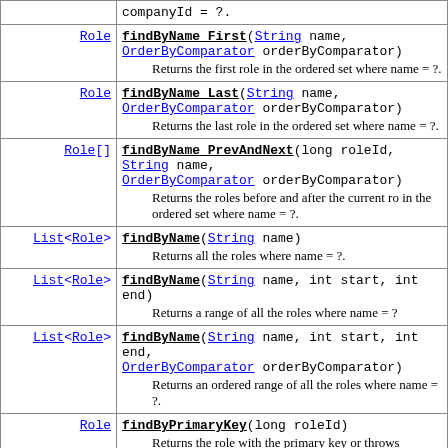| Return Type | Method and Description |
| --- | --- |
|  | companyId = ?. |
| Role | findByName_First(String name, OrderByComparator orderByComparator)
        Returns the first role in the ordered set where name = ?. |
| Role | findByName_Last(String name, OrderByComparator orderByComparator)
        Returns the last role in the ordered set where name = ?. |
| Role[] | findByName_PrevAndNext(long roleId, String name, OrderByComparator orderByComparator)
        Returns the roles before and after the current role in the ordered set where name = ?. |
| List<Role> | findByName(String name)
        Returns all the roles where name = ?. |
| List<Role> | findByName(String name, int start, int end)
        Returns a range of all the roles where name = ?. |
| List<Role> | findByName(String name, int start, int end, OrderByComparator orderByComparator)
        Returns an ordered range of all the roles where name = ?. |
| Role | findByPrimaryKey(long roleId)
        Returns the role with the primary key or throws |